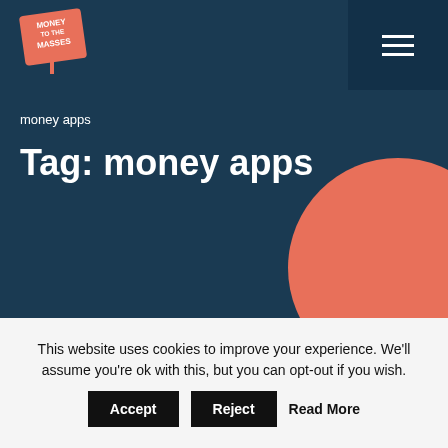Money to the Masses — navigation header
money apps
Tag: money apps
[Figure (screenshot): White card area on grey background, article preview card]
This website uses cookies to improve your experience. We'll assume you're ok with this, but you can opt-out if you wish.
Accept   Reject   Read More